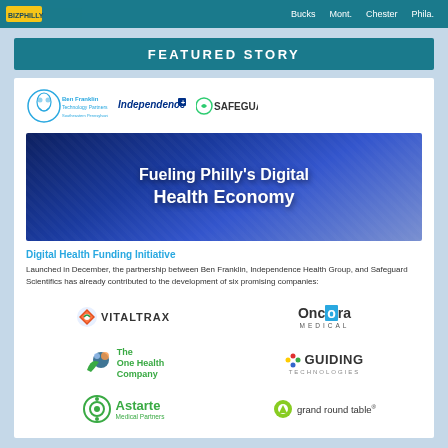Bucks  Mont.  Chester  Phila.
FEATURED STORY
[Figure (logo): Ben Franklin Technology Partners, Independence Blue Cross, and Safeguard logos]
[Figure (photo): Projection screen reading: Fueling Philly's Digital Health Economy]
Digital Health Funding Initiative
Launched in December, the partnership between Ben Franklin, Independence Health Group, and Safeguard Scientifics has already contributed to the development of six promising companies:
[Figure (logo): VitalTrax logo]
[Figure (logo): Oncora Medical logo]
[Figure (logo): The One Health Company logo]
[Figure (logo): Guiding Technologies logo]
[Figure (logo): Astarte Medical Partners logo]
[Figure (logo): grand round table logo]